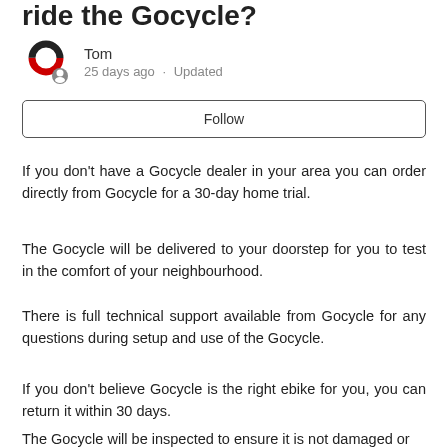ride the Gocycle?
Tom
25 days ago · Updated
Follow
If you don't have a Gocycle dealer in your area you can order directly from Gocycle for a 30-day home trial.
The Gocycle will be delivered to your doorstep for you to test in the comfort of your neighbourhood.
There is full technical support available from Gocycle for any questions during setup and use of the Gocycle.
If you don't believe Gocycle is the right ebike for you, you can return it within 30 days.
The Gocycle will be inspected to ensure it is not damaged or